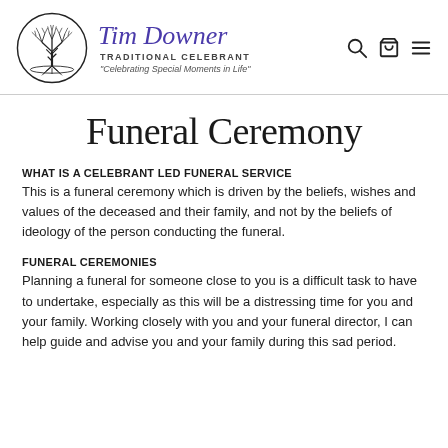[Figure (logo): Tim Downer Traditional Celebrant logo with a tree of life circle illustration, cursive brand name in purple, tagline 'Celebrating Special Moments in Life']
Funeral Ceremony
WHAT IS A CELEBRANT LED FUNERAL SERVICE
This is a funeral ceremony which is driven by the beliefs, wishes and values of the deceased and their family, and not by the beliefs of ideology of the person conducting the funeral.
FUNERAL CEREMONIES
Planning a funeral for someone close to you is a difficult task to have to undertake, especially as this will be a distressing time for you and your family. Working closely with you and your funeral director, I can help guide and advise you and your family during this sad period.